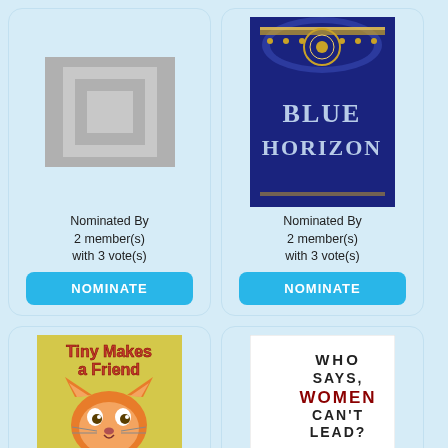[Figure (illustration): Gray placeholder book cover image]
Nominated By
2 member(s)
with 3 vote(s)
NOMINATE
[Figure (photo): Book cover: Blue Horizon, dark blue background with ornate gold arch design]
Nominated By
2 member(s)
with 3 vote(s)
NOMINATE
[Figure (photo): Book cover: Tiny Makes a Friend by Eva Schmidler, illustrated children's book with a cat and mouse character]
Nominated By
[Figure (photo): Book cover: Who Says, Women Can't Lead? by James Rondinone, minimalist white cover]
Nominated By